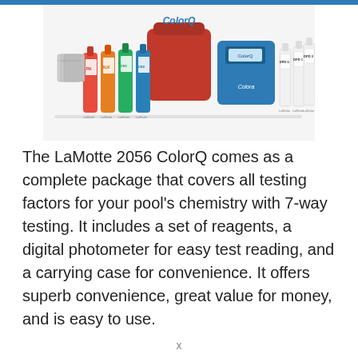[Figure (photo): Product photo of LaMotte 2056 ColorQ kit showing multiple reagent bottles (PH, ALK, CH1, CH2, DPD1, DPD2, etc.), a blue digital photometer/colorimeter device with ColorQ branding, and a red carrying case, all arranged together on a white background.]
The LaMotte 2056 ColorQ comes as a complete package that covers all testing factors for your pool's chemistry with 7-way testing. It includes a set of reagents, a digital photometer for easy test reading, and a carrying case for convenience. It offers superb convenience, great value for money, and is easy to use.
x